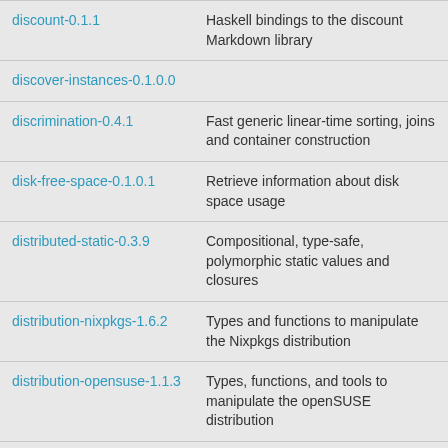| Package | Description |
| --- | --- |
| discount-0.1.1 | Haskell bindings to the discount Markdown library |
| discover-instances-0.1.0.0 |  |
| discrimination-0.4.1 | Fast generic linear-time sorting, joins and container construction |
| disk-free-space-0.1.0.1 | Retrieve information about disk space usage |
| distributed-static-0.3.9 | Compositional, type-safe, polymorphic static values and closures |
| distribution-nixpkgs-1.6.2 | Types and functions to manipulate the Nixpkgs distribution |
| distribution-opensuse-1.1.3 | Types, functions, and tools to manipulate the openSUSE distribution |
| distributive-0.6.2.1 | Distributive functors -- Dual to Traversable |